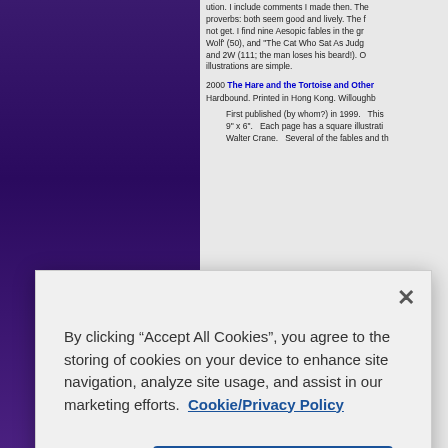tion. I include comments I made then. The proverbs: both seem good and lively. The f not get. I find nine Aesopic fables in the gr Wolf' (50), and "The Cat Who Sat As Judg and 2W (111; the man loses his beard!). O illustrations are simple.
2000 The Hare and the Tortoise and Other Hardbound. Printed in Hong Kong. Willoughb
First published (by whom?) in 1999.   This 9" x 6".   Each page has a square illustrati Walter Crane.   Several of the fables and th
By clicking “Accept All Cookies”, you agree to the storing of cookies on your device to enhance site navigation, analyze site usage, and assist in our marketing efforts. Cookie/Privacy Policy
Cookies Settings
Accept All Cookies
in Angel Publishing House’s My Favorite S contains the story "Si Luncai." These two s